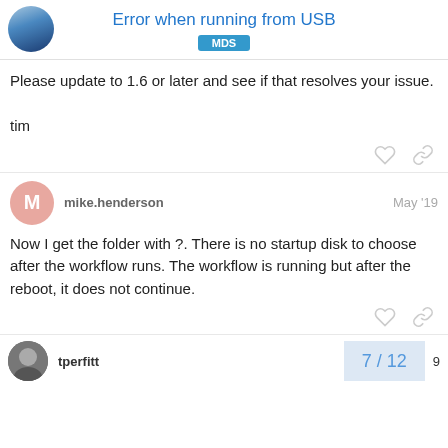Error when running from USB
MDS
Please update to 1.6 or later and see if that resolves your issue.

tim
mike.henderson  May '19
Now I get the folder with ?. There is no startup disk to choose after the workflow runs. The workflow is running but after the reboot, it does not continue.
tperfitt
7 / 12